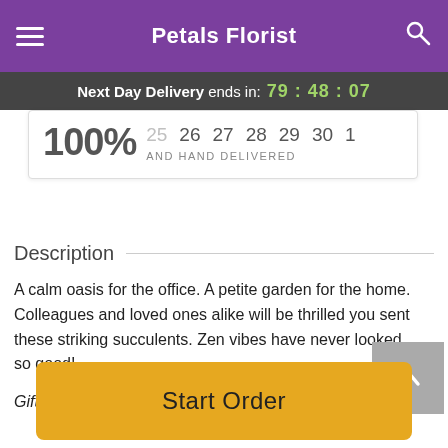Petals Florist
Next Day Delivery ends in: 79:48:07
[Figure (screenshot): Date picker showing 100% and hand delivered label with date numbers 25(faded), 26, 27, 28, 29, 30, 1]
Description
A calm oasis for the office. A petite garden for the home. Colleagues and loved ones alike will be thrilled you sent these striking succulents. Zen vibes have never looked so good!
Gift them five succulent plants arranged in a black ceramic
Start Order